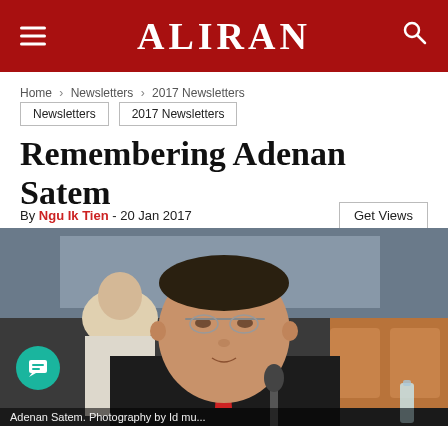ALIRAN
Home › Newsletters › 2017 Newsletters
Newsletters
2017 Newsletters
Remembering Adenan Satem
By Ngu Ik Tien - 20 Jan 2017
[Figure (photo): Photograph of Adenan Satem, an elderly man in a dark suit with red tie, seated at a conference table with microphone, another person visible in background]
Adenan Satem. Photography by Id mu...